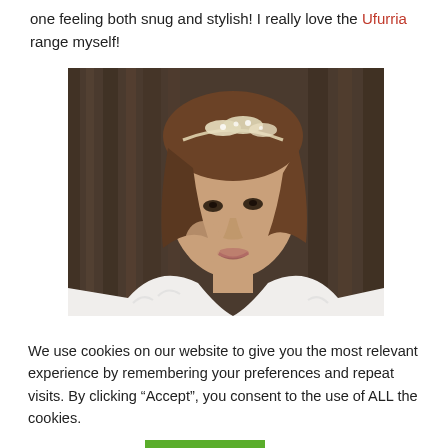one feeling both snug and stylish! I really love the Ufurria range myself!
[Figure (photo): A woman wearing a white fur wrap and a jeweled headband, looking at the camera against a wooden background.]
We use cookies on our website to give you the most relevant experience by remembering your preferences and repeat visits. By clicking “Accept”, you consent to the use of ALL the cookies.
Cookie settings  ACCEPT